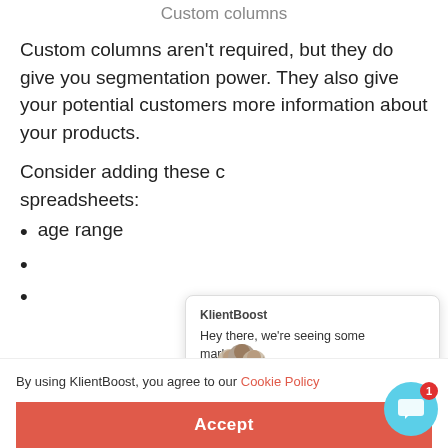Custom columns
Custom columns aren’t required, but they do give you segmentation power. They also give your potential customers more information about your products.
Consider adding these c spreadsheets:
age range
[Figure (screenshot): KlientBoost chat popup with avatar images and message: Hey there, we're seeing some marketing...]
By using KlientBoost, you agree to our Cookie Policy
Accept